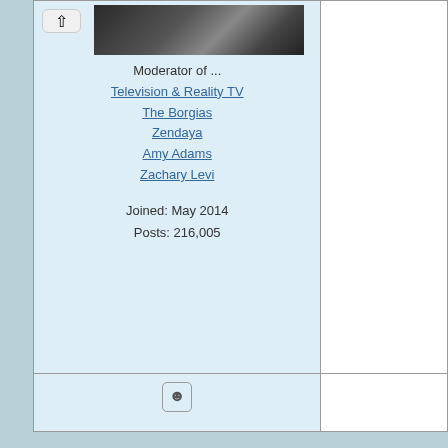[Figure (screenshot): Forum post layout showing user profile sidebar with avatar image, moderator info, and post metadata]
Moderator of ...
Television & Reality TV
The Borgias
Zendaya
Amy Adams
Zachary Levi
Joined: May 2014
Posts: 216,005
[Figure (illustration): Smiley face robot emoji icon]